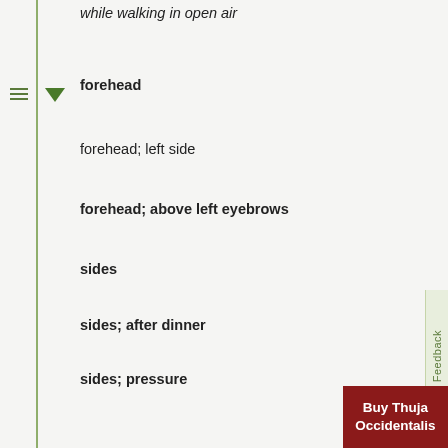while walking in open air
forehead
forehead; left side
forehead; above left eyebrows
sides
sides; after dinner
sides; pressure
top of head (vertex)
top of head (vertex); 3 to 4 a.m.
top of head (vertex); walking in open air
as from a plug, peg or wedge (see nail); temples
pressing (see bursting, pulling)
morning
morning; 3 to 4 a.m.